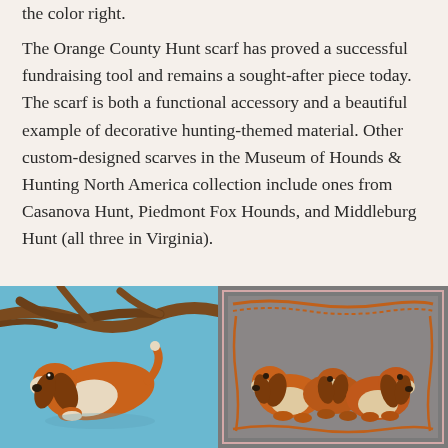the color right.
The Orange County Hunt scarf has proved a successful fundraising tool and remains a sought-after piece today. The scarf is both a functional accessory and a beautiful example of decorative hunting-themed material. Other custom-designed scarves in the Museum of Hounds & Hunting North America collection include ones from Casanova Hunt, Piedmont Fox Hounds, and Middleburg Hunt (all three in Virginia).
[Figure (photo): Left photo showing a hound dog resting on brown branches against a light blue background, detail from a decorative hunting-themed scarf.]
[Figure (photo): Right photo showing multiple hound dogs grouped together within a decorative frame on a grey background, detail from a hunting-themed scarf.]